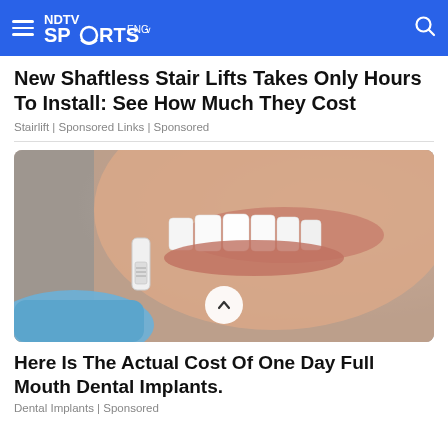NDTV Sports ENG
New Shaftless Stair Lifts Takes Only Hours To Install: See How Much They Cost
Stairlift | Sponsored Links | Sponsored
[Figure (photo): Close-up of a person smiling with white teeth, with a dental veneer being held up by a gloved hand]
Here Is The Actual Cost Of One Day Full Mouth Dental Implants.
Dental Implants | Sponsored